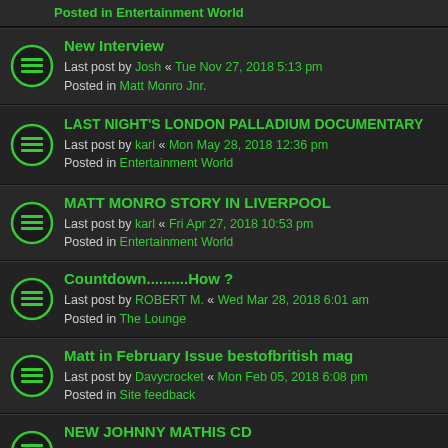Posted in Entertainment World
New Interview
Last post by Josh « Tue Nov 27, 2018 5:13 pm
Posted in Matt Monro Jnr.
LAST NIGHT'S LONDON PALLADIUM DOCUMENTARY
Last post by karl « Mon May 28, 2018 12:36 pm
Posted in Entertainment World
MATT MONRO STORY IN LIVERPOOL
Last post by karl « Fri Apr 27, 2018 10:53 pm
Posted in Entertainment World
Countdown..........How ?
Last post by ROBERT M. « Wed Mar 28, 2018 6:01 am
Posted in The Lounge
Matt in February Issue bestofbritish mag
Last post by Davycrocket « Mon Feb 05, 2018 6:08 pm
Posted in Site feedback
NEW JOHNNY MATHIS CD
Last post by karl « Thu Sep 07, 2017 10:56 pm
Posted in Entertainment World